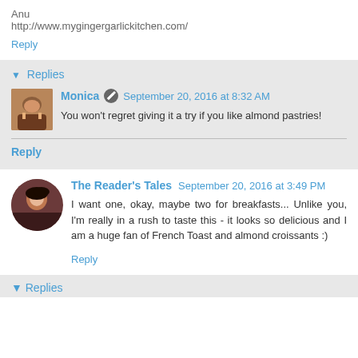Anu
http://www.mygingergarlickitchen.com/
Reply
▼ Replies
[Figure (photo): Avatar image of Monica - food/cake photo]
Monica ✎ September 20, 2016 at 8:32 AM
You won't regret giving it a try if you like almond pastries!
Reply
[Figure (photo): Avatar photo of The Reader's Tales - woman]
The Reader's Tales September 20, 2016 at 3:49 PM
I want one, okay, maybe two for breakfasts... Unlike you, I'm really in a rush to taste this - it looks so delicious and I am a huge fan of French Toast and almond croissants :)
Reply
▼ Replies